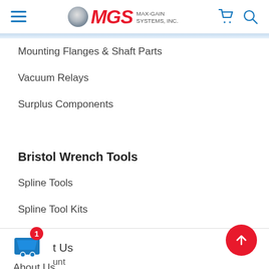MGS MAX-GAIN SYSTEMS, INC.
Mounting Flanges & Shaft Parts
Vacuum Relays
Surplus Components
Bristol Wrench Tools
Spline Tools
Spline Tool Kits
Hex Tools
Hex Tool Kits
Contact Us  My Account  About Us